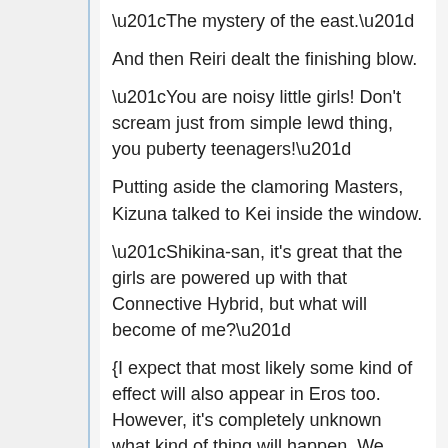“The mystery of the east.”
And then Reiri dealt the finishing blow.
“You are noisy little girls! Don’t scream just from simple lewd thing, you puberty teenagers!”
Putting aside the clamoring Masters, Kizuna talked to Kei inside the window.
“Shikina-san, it’s great that the girls are powered up with that Connective Hybrid, but what will become of me?”
{I expect that most likely some kind of effect will also appear in Eros too. However, it’s completely unknown what kind of thing will happen. We won’t understand until we try it.}
“So this is just leaving it to chance.”
{There is no guarantee of absolute safety. Even so, you don’t have any